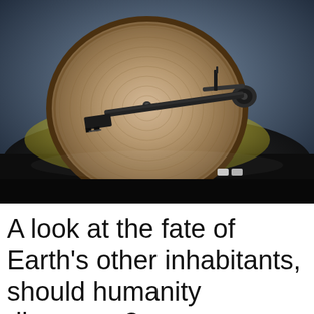[Figure (photo): A top-down photograph of a vinyl record player turntable with a wooden platter and a tonearm, placed on a shiny black surface. The background is dark blue-grey.]
A look at the fate of Earth's other inhabitants, should humanity disappear?